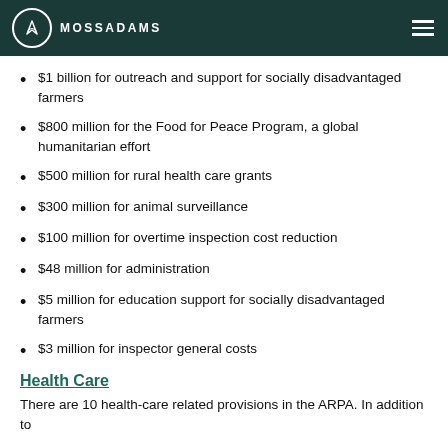MOSSADAMS
$1 billion for outreach and support for socially disadvantaged farmers
$800 million for the Food for Peace Program, a global humanitarian effort
$500 million for rural health care grants
$300 million for animal surveillance
$100 million for overtime inspection cost reduction
$48 million for administration
$5 million for education support for socially disadvantaged farmers
$3 million for inspector general costs
Health Care
There are 10 health-care related provisions in the ARPA. In addition to